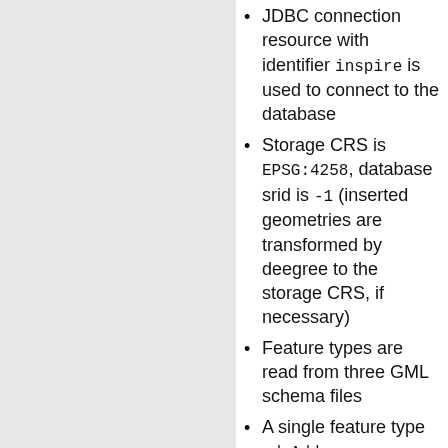JDBC connection resource with identifier inspire is used to connect to the database
Storage CRS is EPSG:4258, database srid is -1 (inserted geometries are transformed by deegree to the storage CRS, if necessary)
Feature types are read from three GML schema files
A single feature type ad:Address (ad=urn:x-...